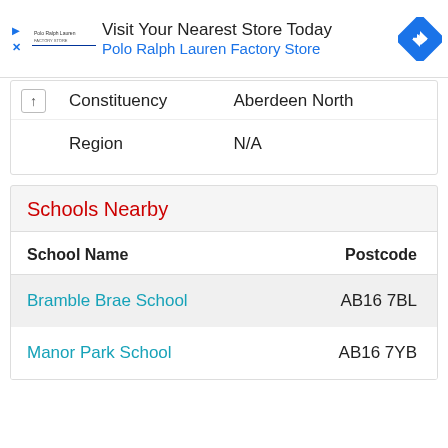[Figure (screenshot): Advertisement banner for Polo Ralph Lauren Factory Store with logo, navigation icon, play and close buttons]
|  | Constituency | Aberdeen North |
| --- | --- | --- |
|  | Region | N/A |
Schools Nearby
| School Name | Postcode |
| --- | --- |
| Bramble Brae School | AB16 7BL |
| Manor Park School | AB16 7YB |